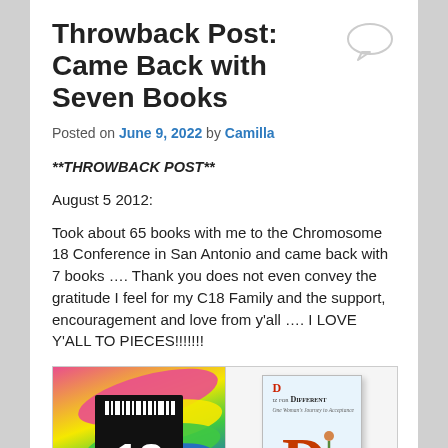Throwback Post: Came Back with Seven Books
Posted on June 9, 2022 by Camilla
**THROWBACK POST**
August 5 2012:
Took about 65 books with me to the Chromosome 18 Conference in San Antonio and came back with 7 books …. Thank you does not even convey the gratitude I feel for my C18 Family and the support, encouragement and love from y'all …. I LOVE Y'ALL TO PIECES!!!!!!!
[Figure (photo): Left half shows Chromosome 18 logo (black rectangle with white '18' and barcode-style marks) against colorful paint strokes in pink, yellow, green, blue. Right half shows a book cover 'D iz for Different: One Woman's Journey to Acceptance'.]